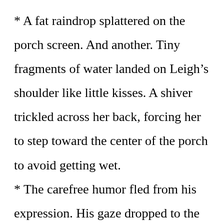* A fat raindrop splattered on the porch screen. And another. Tiny fragments of water landed on Leigh’s shoulder like little kisses. A shiver trickled across her back, forcing her to step toward the center of the porch to avoid getting wet.
* The carefree humor fled from his expression. His gaze dropped to the tips of her toes and slowly rose up her legs, her